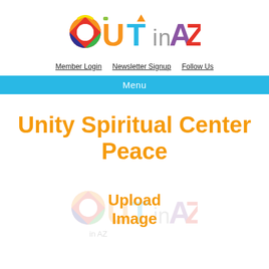[Figure (logo): OUT in AZ colorful logo with rainbow-colored letters]
Member Login   Newsletter Signup   Follow Us
Menu
Unity Spiritual Center Peace
[Figure (logo): OUT in AZ watermark logo faded in background with 'Upload Image' text overlay]